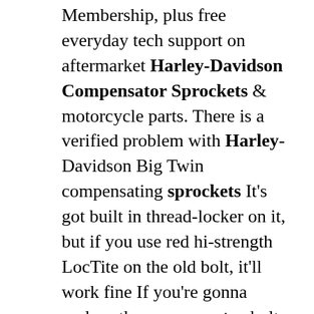Membership, plus free everyday tech support on aftermarket Harley-Davidson Compensator Sprockets & motorcycle parts. There is a verified problem with Harley-Davidson Big Twin compensating sprockets It's got built in thread-locker on it, but if you use red hi-strength LocTite on the old bolt, it'll work fine If you're gonna replace the compensator bolt, go to Harley for the bolt Free Harley-Davidson service manuals online The compensator is retro fit-able from 2007 through current model years The. Feb 22, 2022 · Step 1: Draining the chaincase fluid. Firstly, take a ride for a few minutes and shift through all five or six gears. After the bike cools off (around 10 minutes), look under the clutch cover for the primary chaincase drain plug. You'll need a 3/8-inch Allen socket and a socket wrench to remove the plug.. . On pre-1977 models, remove the bolts from the primary chain...